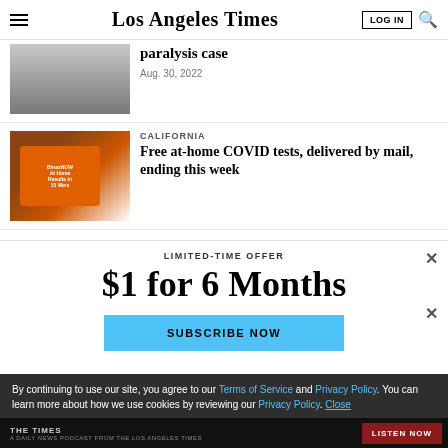Los Angeles Times — LOG IN
[Figure (screenshot): Partial article thumbnail image (top cut off), showing fingers/hand, with truncated headline 'paralysis case' and date Aug. 30, 2022]
paralysis case
Aug. 30, 2022
CALIFORNIA
Free at-home COVID tests, delivered by mail, ending this week
[Figure (photo): Photo of orange COVID at-home test kit boxes]
LIMITED-TIME OFFER
$1 for 6 Months
SUBSCRIBE NOW
By continuing to use our site, you agree to our Terms of Service and Privacy Policy. You can learn more about how we use cookies by reviewing our Privacy Policy. Close
THE TIMES — A DAILY NEWS PODCAST FROM THE LOS ANGELES TIMES — LISTEN NOW